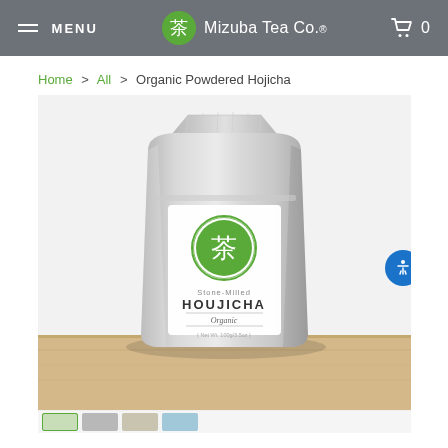MENU | Mizuba Tea Co. | Cart 0
Home > All > Organic Powdered Hojicha
[Figure (photo): Silver mylar resealable pouch of Stone-Milled HOUJICHA Organic tea by Mizuba Tea Company, with green circular logo featuring Japanese kanji character 茶, sitting on a wooden surface. Net wt. 100g/3.5oz.]
[Figure (photo): Thumbnail strip showing multiple product images at bottom of page]